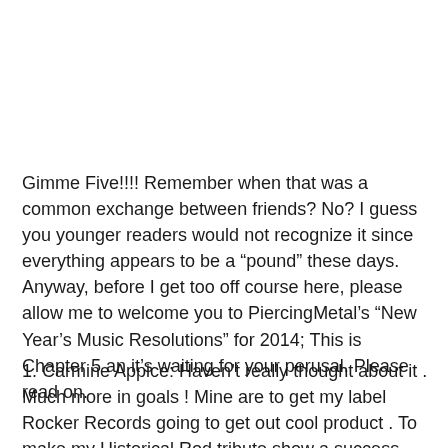Gimme Five!!!! Remember when that was a common exchange between friends? No? I guess you younger readers would not recognize it since everything appears to be a “pound” these days. Anyway, before I get too off course here, please allow me to welcome you to PiercingMetal’s “New Year’s Music Resolutions” for 2014; This is Chapter 5 an it’s waiting for your perusal. Please read on.
1. Carmine Appice: Haven’t really thought about it . Much more in goals ! Mine are to get my label Rocker Records going to get out cool product . To make my Historical Rod tribute show a success along with Legacy X my new group with Joe